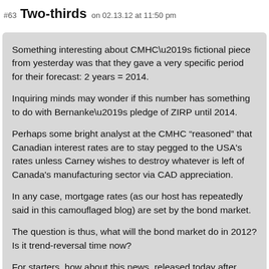#63 Two-thirds on 02.13.12 at 11:50 pm
Something interesting about CMHC’s fictional piece from yesterday was that they gave a very specific period for their forecast: 2 years = 2014.
Inquiring minds may wonder if this number has something to do with Bernanke’s pledge of ZIRP until 2014.
Perhaps some bright analyst at the CMHC “reasoned” that Canadian interest rates are to stay pegged to the USA's rates unless Carney wishes to destroy whatever is left of Canada's manufacturing sector via CAD appreciation.
In any case, mortgage rates (as our host has repeatedly said in this camouflaged blog) are set by the bond market.
The question is thus, what will the bond market do in 2012? Is it trend-reversal time now?
For starters, how about this news, released today after market closing time, of course:
“Moody’s downgrades Italy, Portugal, Spain